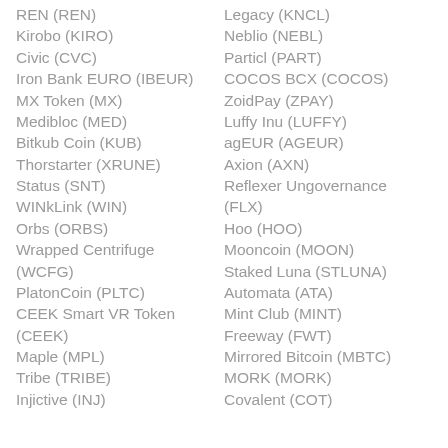REN (REN)
Kirobo (KIRO)
Civic (CVC)
Iron Bank EURO (IBEUR)
MX Token (MX)
Medibloc (MED)
Bitkub Coin (KUB)
Thorstarter (XRUNE)
Status (SNT)
WINkLink (WIN)
Orbs (ORBS)
Wrapped Centrifuge (WCFG)
PlatonCoin (PLTC)
CEEK Smart VR Token (CEEK)
Maple (MPL)
Tribe (TRIBE)
Injective (INJ)
Legacy (KNCL)
Neblio (NEBL)
Particl (PART)
COCOS BCX (COCOS)
ZoidPay (ZPAY)
Luffy Inu (LUFFY)
agEUR (AGEUR)
Axion (AXN)
Reflexer Ungovernance (FLX)
Hoo (HOO)
Mooncoin (MOON)
Staked Luna (STLUNA)
Automata (ATA)
Mint Club (MINT)
Freeway (FWT)
Mirrored Bitcoin (MBTC)
MORK (MORK)
Covalent (COT)